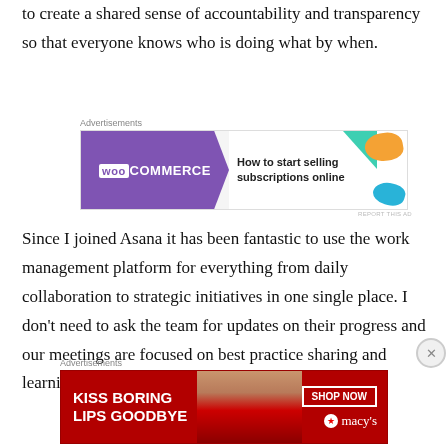to create a shared sense of accountability and transparency so that everyone knows who is doing what by when.
[Figure (other): WooCommerce advertisement: 'How to start selling subscriptions online']
Since I joined Asana it has been fantastic to use the work management platform for everything from daily collaboration to strategic initiatives in one single place. I don't need to ask the team for updates on their progress and our meetings are focused on best practice sharing and learning
[Figure (other): Macy's advertisement: 'Kiss Boring Lips Goodbye - Shop Now']